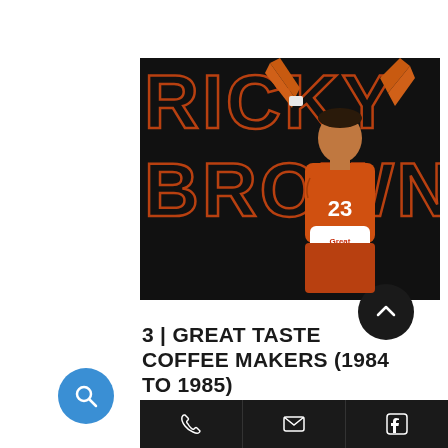[Figure (photo): Basketball player Ricky Brown wearing jersey number 23 with 'Great Taste Coffee' sponsor logo, arms raised above head, against black background with large outlined text 'RICKY BROWN' behind him.]
3 | GREAT TASTE COFFEE MAKERS (1984 TO 1985)